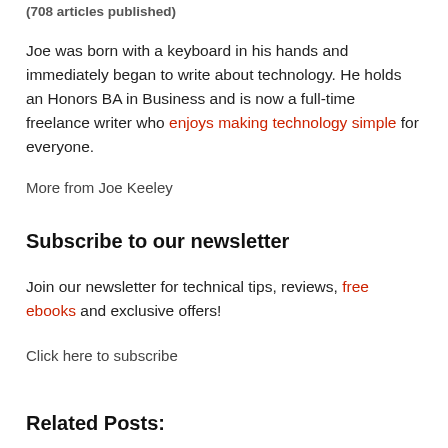(708 articles published)
Joe was born with a keyboard in his hands and immediately began to write about technology. He holds an Honors BA in Business and is now a full-time freelance writer who enjoys making technology simple for everyone.
More from Joe Keeley
Subscribe to our newsletter
Join our newsletter for technical tips, reviews, free ebooks and exclusive offers!
Click here to subscribe
Related Posts: